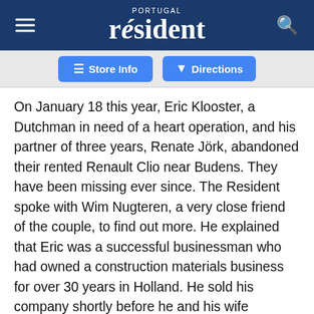PORTUGAL resident
[Figure (screenshot): Partial view of Google Maps store info and directions buttons]
On January 18 this year, Eric Klooster, a Dutchman in need of a heart operation, and his partner of three years, Renate Jörk, abandoned their rented Renault Clio near Budens. They have been missing ever since. The Resident spoke with Wim Nugteren, a very close friend of the couple, to find out more. He explained that Eric was a successful businessman who had owned a construction materials business for over 30 years in Holland. He sold his company shortly before he and his wife divorced and decided to move to Lagos, where he lived for about seven months of the year, travelling on his motorbike for the remainder. Renate was a housewife, separated from her husband and living in Augsburg, Germany. She holidayed in